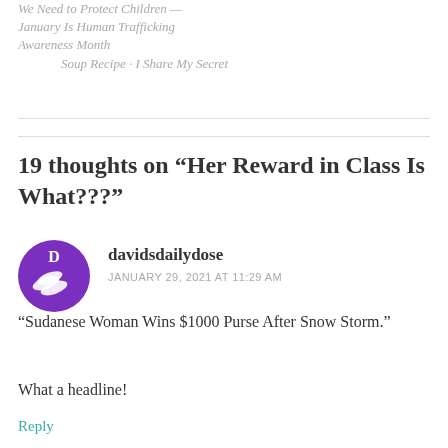We Need to Protect Children — January Is Human Trafficking Awareness Month | Soup Recipe · I Share My Secret
19 thoughts on “Her Reward in Class Is What???”
[Figure (illustration): Purple circular avatar with letter D and pill/capsule icons for user davidsdailydose]
davidsdailydose
JANUARY 29, 2021 AT 11:29 AM
“Sudanese Woman Wins $1000 Purse After Snow Storm.”
What a headline!
Reply